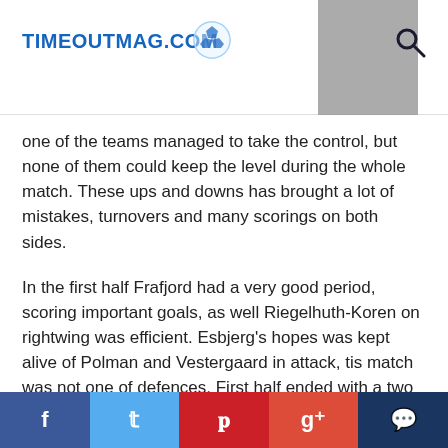TIMEOUTMAG.COM
one of the teams managed to take the control, but none of them could keep the level during the whole match. These ups and downs has brought a lot of mistakes, turnovers and many scorings on both sides.
In the first half Frafjord had a very good period, scoring important goals, as well Riegelhuth-Koren on rightwing was efficient. Esbjerg's hopes was kept alive of Polman and Vestergaard in attack, tis match was not one of defences. First half ended with a two goals advantage for the Danish team 15-17.
In the second half Larvik leveled the game quickly, 17-17, than took the lead, but Alina Wojtas got a red and blue